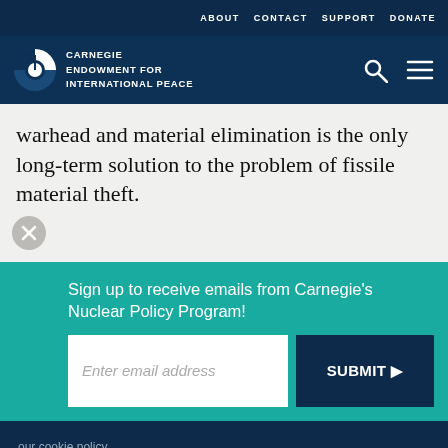ABOUT  CONTACT  SUPPORT  DONATE
[Figure (logo): Carnegie Endowment for International Peace logo with circular icon and text]
warhead and material elimination is the only long-term solution to the problem of fissile material theft.
Sign up to receive emails from Carnegie's Nuclear Policy Program!
Enter email address
SUBMIT
our cookie policy.
Social sharing icons: print, share, facebook, twitter, whatsapp, messenger, linkedin